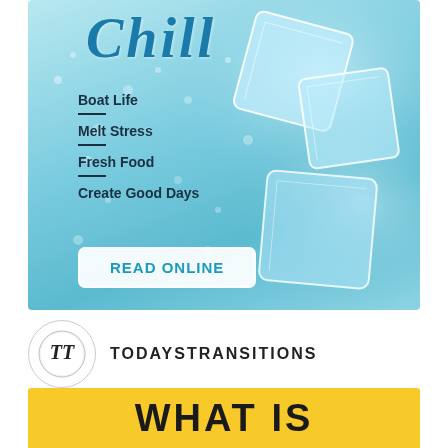[Figure (illustration): Magazine cover style image with light blue/aqua background with water droplets and ice cubes. Cursive 'Chill' text at top. List of topics: Boat Life, Melt Stress, Fresh Food, Create Good Days. A 'READ ONLINE' button at the bottom.]
TODAYSTRANSITIONS
WHAT IS